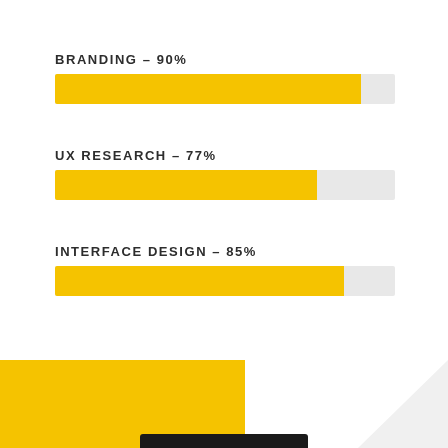[Figure (bar-chart): Skills Progress]